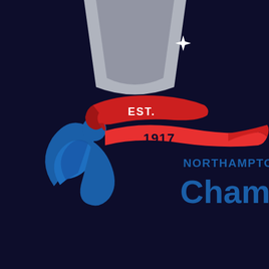[Figure (logo): Northamptonshire Chamber of Commerce logo on a dark navy background. A grey rounded trapezoid shape at the top with a white four-pointed star. Below, a red ribbon/banner with 'EST.' text curves over a blue stylized figure icon with swoosh elements. The ribbon continues with '1917' text in dark on a lighter red section. To the right: 'NORTHAMPTONSHIRE' in blue uppercase letters above 'Chamber' in large blue text.]